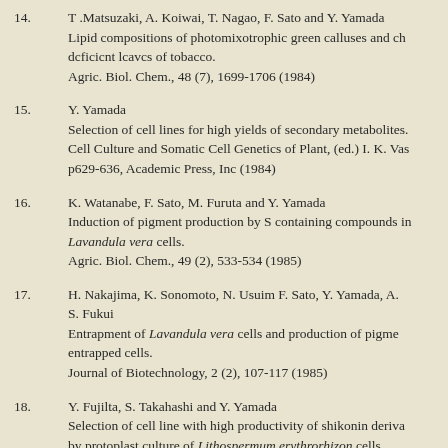14. T .Matsuzaki, A. Koiwai, T. Nagao, F. Sato and Y. Yamada
Lipid compositions of photomixotrophic green calluses and ch dcficicnt lcavcs of tobacco.
Agric. Biol. Chem., 48 (7), 1699-1706 (1984)
15. Y. Yamada
Selection of cell lines for high yields of secondary metabolites. Cell Culture and Somatic Cell Genetics of Plant, (ed.) I. K. Vas p629-636, Academic Press, Inc (1984)
16. K. Watanabe, F. Sato, M. Furuta and Y. Yamada
Induction of pigment production by S containing compounds in Lavandula vera cells.
Agric. Biol. Chem., 49 (2), 533-534 (1985)
17. H. Nakajima, K. Sonomoto, N. Usuim F. Sato, Y. Yamada, A. S. Fukui
Entrapment of Lavandula vera cells and production of pigme entrapped cells.
Journal of Biotechnology, 2 (2), 107-117 (1985)
18. Y. Fujilta, S. Takahashi and Y. Yamada
Selection of cell line with high productivity of shikonin deriva by protoplast culture of Lithospermum erythrorhizon cells.
Agric. Biol. Chem., 45 (6), 1755-1758 (1985)